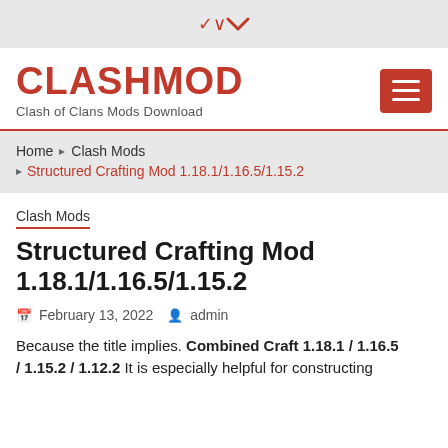[Figure (other): Chevron/dropdown arrow icon in a gray bar at the top of the page]
CLASHMOD — Clash of Clans Mods Download
Home › Clash Mods › Structured Crafting Mod 1.18.1/1.16.5/1.15.2
Clash Mods
Structured Crafting Mod 1.18.1/1.16.5/1.15.2
February 13, 2022   admin
Because the title implies. Combined Craft 1.18.1 / 1.16.5 / 1.15.2 / 1.12.2 It is especially helpful for constructing…